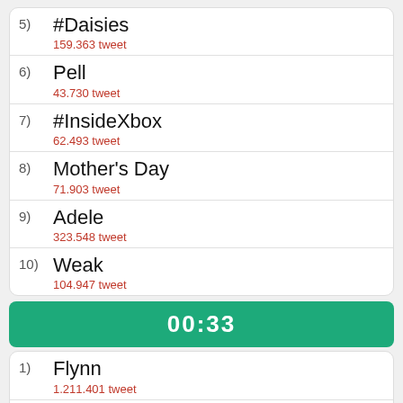5) #Daisies — 159.363 tweet
6) Pell — 43.730 tweet
7) #InsideXbox — 62.493 tweet
8) Mother's Day — 71.903 tweet
9) Adele — 323.548 tweet
10) Weak — 104.947 tweet
00:33
1) Flynn — 1.211.401 tweet
2) #DoItForDollyDay